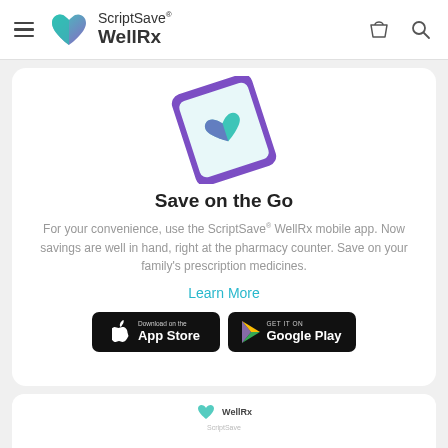ScriptSave® WellRx
[Figure (illustration): Smartphone displaying the ScriptSave WellRx app with heart logo on screen, shown at an angle, with purple frame]
Save on the Go
For your convenience, use the ScriptSave® WellRx mobile app. Now savings are well in hand, right at the pharmacy counter. Save on your family's prescription medicines.
Learn More
[Figure (screenshot): Download on the App Store button (black)]
[Figure (screenshot): Get it on Google Play button (black)]
[Figure (screenshot): Partial bottom card showing WellRx card/content stub]